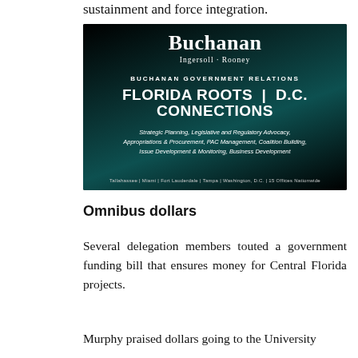sustainment and force integration.
[Figure (illustration): Advertisement for Buchanan Ingersoll Rooney law firm promoting their government relations services, with text: BUCHANAN GOVERNMENT RELATIONS, FLORIDA ROOTS | D.C. CONNECTIONS, Strategic Planning, Legislative and Regulatory Advocacy, Appropriations & Procurement, PAC Management, Coalition Building, Issue Development & Monitoring, Business Development. Offices: Tallahassee | Miami | Fort Lauderdale | Tampa | Washington, D.C. | 15 Offices Nationwide]
Omnibus dollars
Several delegation members touted a government funding bill that ensures money for Central Florida projects.
Murphy praised dollars going to the University